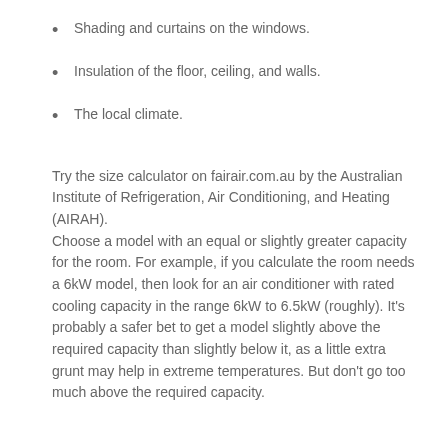Shading and curtains on the windows.
Insulation of the floor, ceiling, and walls.
The local climate.
Try the size calculator on fairair.com.au by the Australian Institute of Refrigeration, Air Conditioning, and Heating (AIRAH).
Choose a model with an equal or slightly greater capacity for the room. For example, if you calculate the room needs a 6kW model, then look for an air conditioner with rated cooling capacity in the range 6kW to 6.5kW (roughly). It's probably a safer bet to get a model slightly above the required capacity than slightly below it, as a little extra grunt may help in extreme temperatures. But don't go too much above the required capacity.